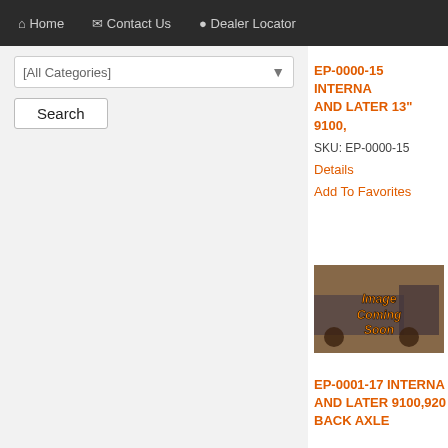Home  Contact Us  Dealer Locator
[All Categories]
Search
EP-0000-15 INTERNA… AND LATER 13" 9100,…
SKU: EP-0000-15
Details
Add To Favorites
[Figure (photo): Image Coming Soon placeholder photo for product EP-0000-15]
EP-0001-17 INTERNA… AND LATER 9100,920… BACK AXLE…